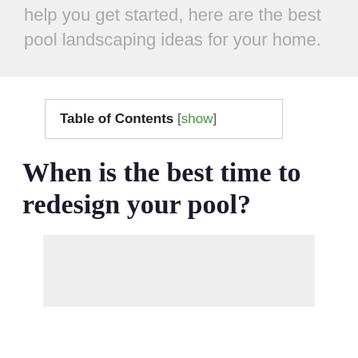help you get started, here are the best pool landscaping ideas for your home.
Table of Contents [show]
When is the best time to redesign your pool?
[Figure (other): Gray placeholder image block]